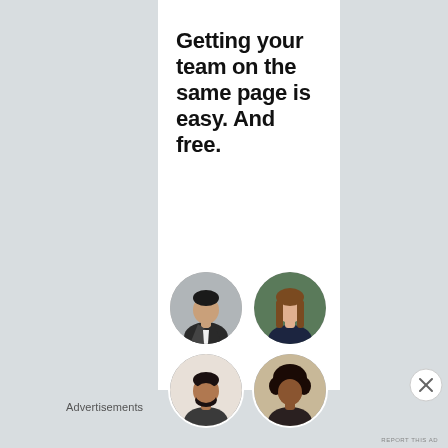Getting your team on the same page is easy. And free.
[Figure (illustration): Four circular portrait photos of team members arranged in a 2x2 grid: top-left is a young man in a dark jacket against a gray background, top-right is a woman with long hair in a dark top, bottom-left is a man with a beard, bottom-right is a woman with natural hair.]
Advertisements
[Figure (other): Circle close/dismiss button with an X symbol in the bottom right area of the advertisement]